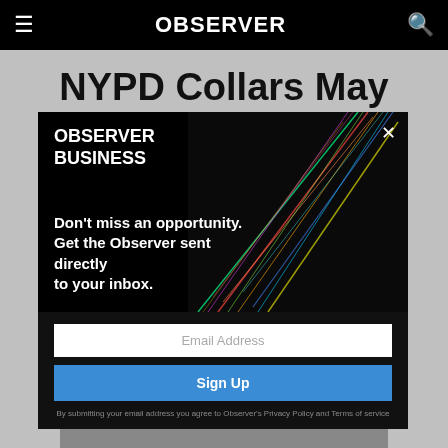OBSERVER
NYPD Collars May
[Figure (screenshot): Observer Business popup newsletter signup modal with colorful light-streak background image, email input field, Sign Up button, and legal disclaimer text]
By Madina Toure · 05/31/17 12:12pm
[Figure (infographic): Social share buttons row: Facebook, Twitter, LinkedIn, Email icons as dark circles]
[Figure (photo): Bottom partial photo strip of a building interior]